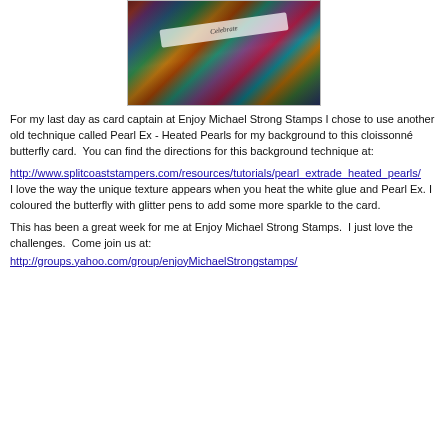[Figure (photo): Photo of a colorful cloisonné butterfly card with Pearl Ex Heated Pearls background technique, showing vibrant colors including pink, teal, green, and purple patterns on a dark surface.]
For my last day as card captain at Enjoy Michael Strong Stamps I chose to use another old technique called Pearl Ex - Heated Pearls for my background to this cloisonné butterfly card.  You can find the directions for this background technique at:
http://www.splitcoaststampers.com/resources/tutorials/pearl_extrade_heated_pearls/
I love the way the unique texture appears when you heat the white glue and Pearl Ex. I coloured the butterfly with glitter pens to add some more sparkle to the card.
This has been a great week for me at Enjoy Michael Strong Stamps.  I just love the challenges.  Come join us at:
http://groups.yahoo.com/group/enjoyMichaelStrongstamps/